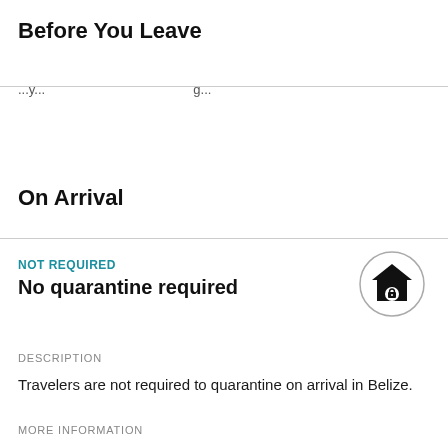Before You Leave
...
On Arrival
NOT REQUIRED
No quarantine required
[Figure (illustration): House/home quarantine icon inside a circle outline]
DESCRIPTION
Travelers are not required to quarantine on arrival in Belize.
MORE INFORMATION